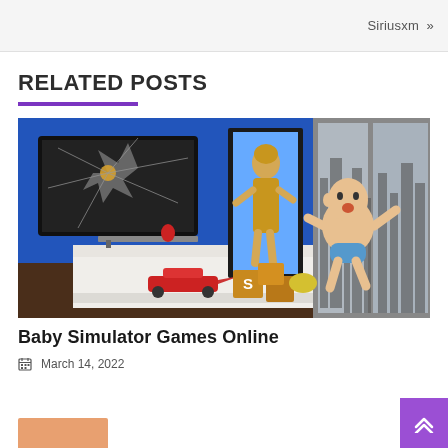Siriusxm »
RELATED POSTS
[Figure (illustration): 3D animated scene showing a baby in a blue diaper standing on a white bed with toys including a red airplane and wooden blocks. A woman stands near an open doorway. A cracked flat-screen TV is mounted on a blue wall. City skyline visible through glass panels on the right.]
Baby Simulator Games Online
March 14, 2022